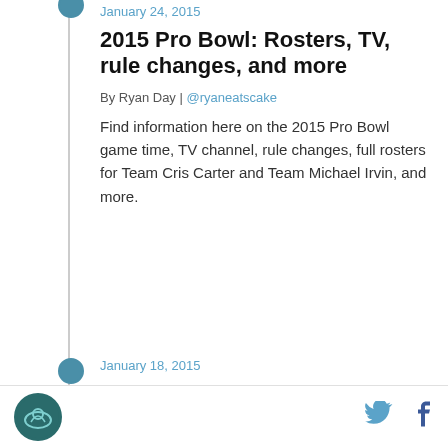January 24, 2015
2015 Pro Bowl: Rosters, TV, rule changes, and more
By Ryan Day | @ryaneatscake
Find information here on the 2015 Pro Bowl game time, TV channel, rule changes, full rosters for Team Cris Carter and Team Michael Irvin, and more.
January 18, 2015
Super Bowl 49: Everything you need to know
By Ryan Day | @ryaneatscake
The 2015 Super Bowl will take place on Sunday, February 1 at University of Phoenix Stadium in Arizona...